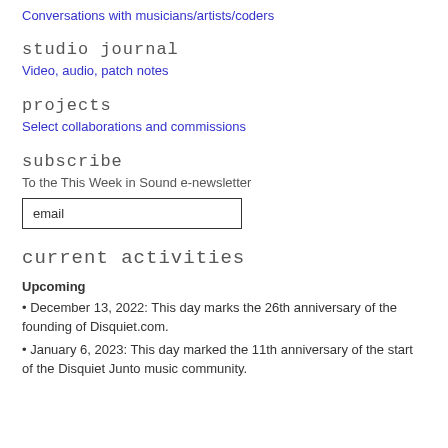Conversations with musicians/artists/coders
studio journal
Video, audio, patch notes
projects
Select collaborations and commissions
subscribe
To the This Week in Sound e-newsletter
email
current activities
Upcoming
• December 13, 2022: This day marks the 26th anniversary of the founding of Disquiet.com.
• January 6, 2023: This day marked the 11th anniversary of the start of the Disquiet Junto music community.